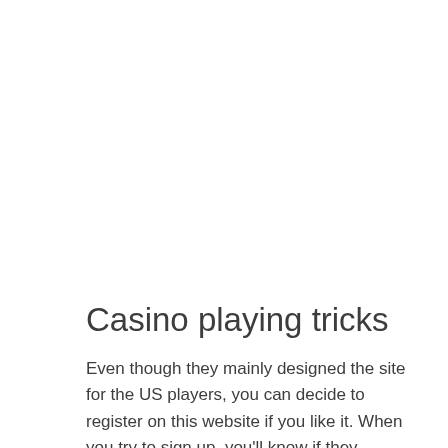Casino playing tricks
Even though they mainly designed the site for the US players, you can decide to register on this website if you like it. When you try to sign up, you'll know if they accept players from your country. In general, their team has done a fantastic job in developing